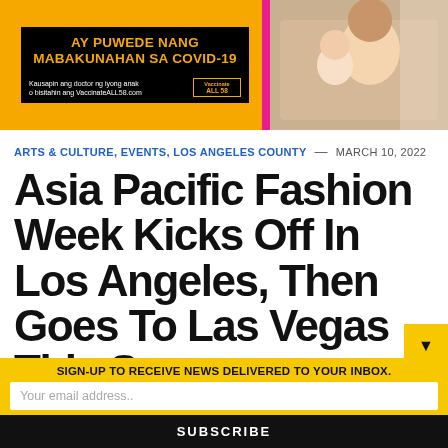[Figure (photo): Advertisement banner for VaccinateALL58 COVID-19 vaccination campaign in Filipino language with yellow and pink background and photo of mother kissing baby]
ARTS & CULTURE, EVENTS, LOS ANGELES COUNTY — MARCH 10, 2022
Asia Pacific Fashion Week Kicks Off In Los Angeles, Then Goes To Las Vegas This Summer
by ASIAN JOURNAL PRESS
SIGN-UP TO RECEIVE NEWS DELIVERED TO YOUR INBOX.
Your email address..
SUBSCRIBE